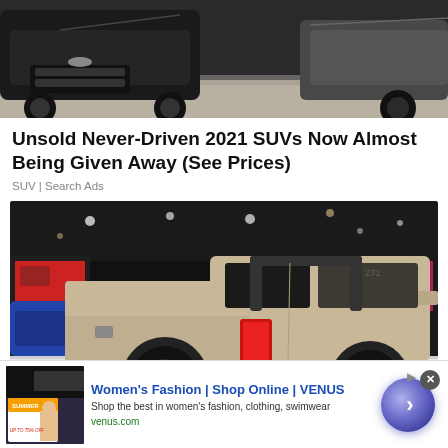[Figure (photo): Partial view of dark luxury SUV/car front end from above, showing grille, hood, and wheels on a light surface]
Unsold Never-Driven 2021 SUVs Now Almost Being Given Away (See Prices)
SUV | Search Ads
[Figure (photo): Tan/beige Chevrolet Colorado Z71 pickup truck at an auto show, rear three-quarter view, with black wheels and roll bar, on white show floor with exhibits in background]
[Figure (infographic): Advertisement banner: Women's Fashion | Shop Online | VENUS. Shop the best in women's fashion, clothing, swimwear. venus.com. Thumbnail shows Summer Sale promotional image.]